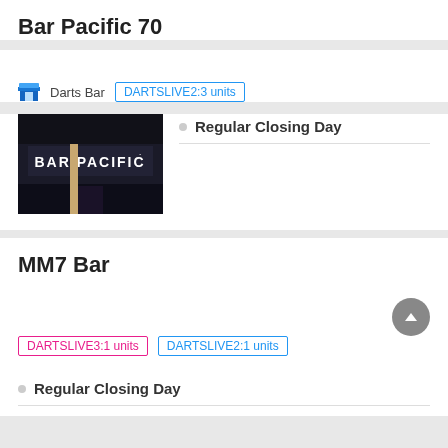Bar Pacific 70
Darts Bar  DARTSLIVE2:3 units
[Figure (photo): Night photo of Bar Pacific storefront with illuminated sign reading BAR PACIFIC]
Regular Closing Day
MM7 Bar
DARTSLIVE3:1 units  DARTSLIVE2:1 units
Regular Closing Day